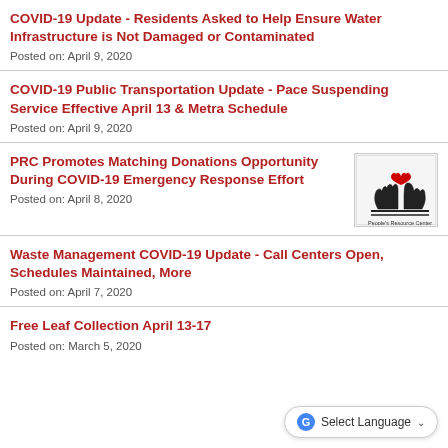COVID-19 Update - Residents Asked to Help Ensure Water Infrastructure is Not Damaged or Contaminated
Posted on: April 9, 2020
COVID-19 Public Transportation Update - Pace Suspending Service Effective April 13 & Metra Schedule
Posted on: April 9, 2020
PRC Promotes Matching Donations Opportunity During COVID-19 Emergency Response Effort
Posted on: April 8, 2020
[Figure (logo): People's Resource Center logo with hands and heart icon]
Waste Management COVID-19 Update - Call Centers Open, Schedules Maintained, More
Posted on: April 7, 2020
Free Leaf Collection April 13-17
Posted on: March 5, 2020